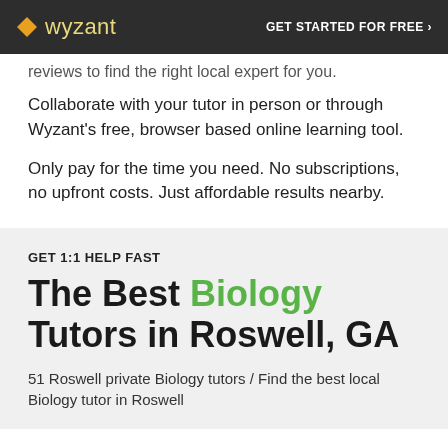wyzant | GET STARTED FOR FREE ›
reviews to find the right local expert for you.
Collaborate with your tutor in person or through Wyzant's free, browser based online learning tool.
Only pay for the time you need. No subscriptions, no upfront costs. Just affordable results nearby.
GET 1:1 HELP FAST
The Best Biology Tutors in Roswell, GA
51 Roswell private Biology tutors / Find the best local Biology tutor in Roswell